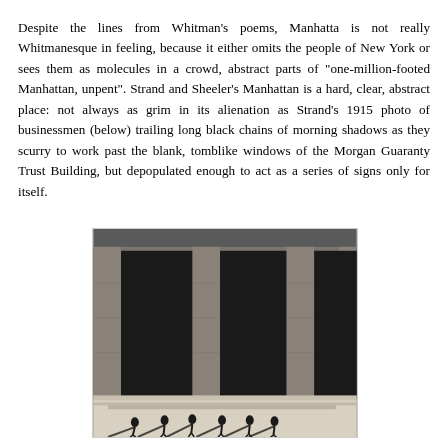Despite the lines from Whitman's poems, Manhatta is not really Whitmanesque in feeling, because it either omits the people of New York or sees them as molecules in a crowd, abstract parts of "one-million-footed Manhattan, unpent". Strand and Sheeler's Manhattan is a hard, clear, abstract place: not always as grim in its alienation as Strand's 1915 photo of businessmen (below) trailing long black chains of morning shadows as they scurry to work past the blank, tomblike windows of the Morgan Guaranty Trust Building, but depopulated enough to act as a series of signs only for itself.
[Figure (photo): Black and white photograph showing businessmen walking past the large blank tomblike windows of the Morgan Guaranty Trust Building, casting long black shadows on the ground.]